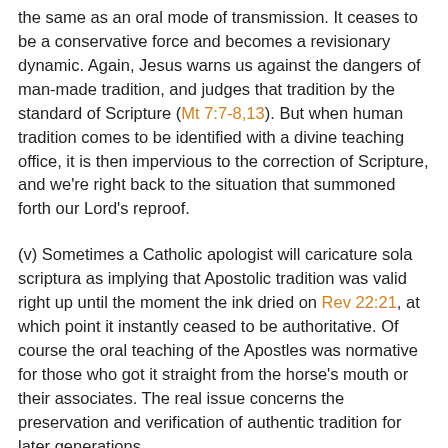the same as an oral mode of transmission. It ceases to be a conservative force and becomes a revisionary dynamic. Again, Jesus warns us against the dangers of man-made tradition, and judges that tradition by the standard of Scripture (Mt 7:7-8,13). But when human tradition comes to be identified with a divine teaching office, it is then impervious to the correction of Scripture, and we're right back to the situation that summoned forth our Lord's reproof.
(v) Sometimes a Catholic apologist will caricature sola scriptura as implying that Apostolic tradition was valid right up until the moment the ink dried on Rev 22:21, at which point it instantly ceased to be authoritative. Of course the oral teaching of the Apostles was normative for those who got it straight from the horse's mouth or their associates. The real issue concerns the preservation and verification of authentic tradition for later generations.
(vi) Furthermore, Catholic apologists play a bait-and-switch scam. For they lure the Protestant by appealing to examples where the Bible refers to an oral source, and then shift to a